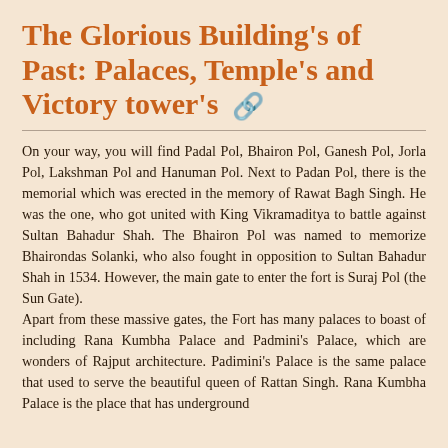The Glorious Building's of Past: Palaces, Temple's and Victory tower's 🔗
On your way, you will find Padal Pol, Bhairon Pol, Ganesh Pol, Jorla Pol, Lakshman Pol and Hanuman Pol. Next to Padan Pol, there is the memorial which was erected in the memory of Rawat Bagh Singh. He was the one, who got united with King Vikramaditya to battle against Sultan Bahadur Shah. The Bhairon Pol was named to memorize Bhairondas Solanki, who also fought in opposition to Sultan Bahadur Shah in 1534. However, the main gate to enter the fort is Suraj Pol (the Sun Gate). Apart from these massive gates, the Fort has many palaces to boast of including Rana Kumbha Palace and Padmini's Palace, which are wonders of Rajput architecture. Padimini's Palace is the same palace that used to serve the beautiful queen of Rattan Singh. Rana Kumbha Palace is the place that has underground